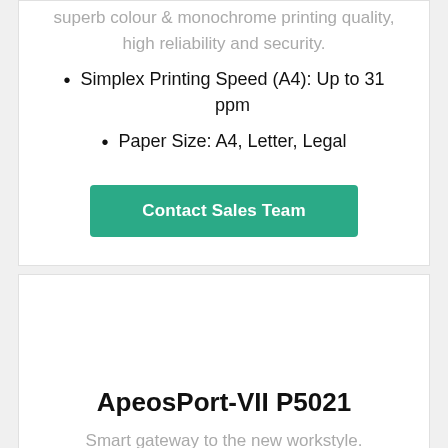superb colour & monochrome printing quality, high reliability and security.
Simplex Printing Speed (A4): Up to 31 ppm
Paper Size: A4, Letter, Legal
Contact Sales Team
ApeosPort-VII P5021
Smart gateway to the new workstyle.
Simplex Printing Speed (A4): Up to 53 ppm